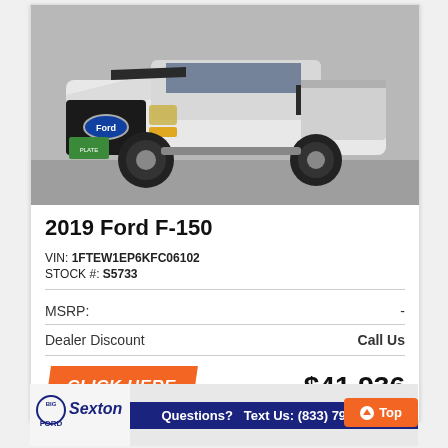[Figure (photo): White 2019 Ford F-150 pickup truck with black accents and racing stripes, photographed from front-left angle]
2019 Ford F-150
VIN: 1FTEW1EP6KFC06102
STOCK #: S5733
MSRP: -
Dealer Discount    Call Us
CLICK HERE    $41,936
[Figure (logo): Sexton Ford dealership logo with Questions? Text Us: (833) 797-0999 banner and Top button]